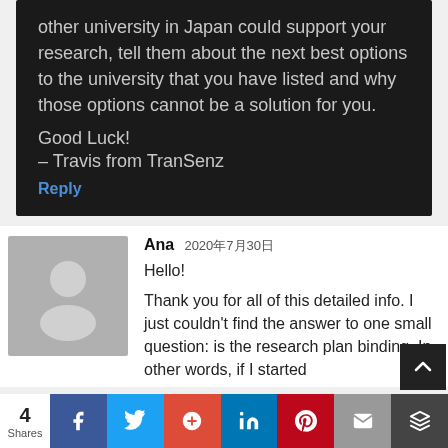other university in Japan could support your research, tell them about the next best options to the university that you have listed and why those options cannot be a solution for you.
Good Luck!
– Travis from TranSenz
Reply
Ana 2020年7月30日
Hello!
Thank you for all of this detailed info. I just couldn't find the answer to one small question: is the research plan binding. In other words, if I started